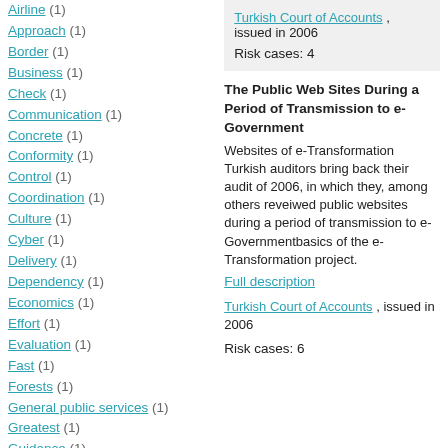Airline (1)
Approach (1)
Border (1)
Business (1)
Check (1)
Communication (1)
Concrete (1)
Conformity (1)
Control (1)
Coordination (1)
Culture (1)
Cyber (1)
Delivery (1)
Dependency (1)
Economics (1)
Effort (1)
Evaluation (1)
Fast (1)
Forests (1)
General public services (1)
Greatest (1)
Guidance (1)
Import (1)
Investment (1)
Turkish Court of Accounts , issued in 2006
Risk cases: 4
The Public Web Sites During a Period of Transmission to e-Government
Websites of e-Transformation
Turkish auditors bring back their audit of 2006, in which they, among others reveiwed public websites during a period of transmission to e-Governmentbasics of the e-Transformation project.
Full description
Turkish Court of Accounts , issued in 2006
Risk cases: 6